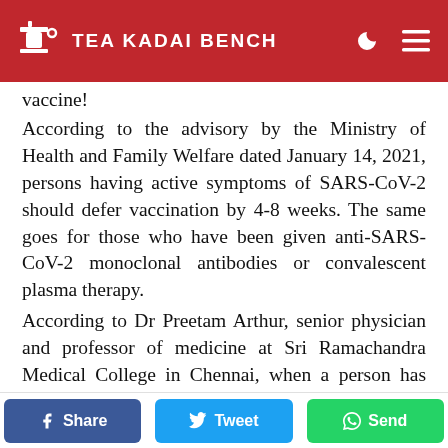Tea Kadai Bench
vaccine!
According to the advisory by the Ministry of Health and Family Welfare dated January 14, 2021, persons having active symptoms of SARS-CoV-2 should defer vaccination by 4-8 weeks. The same goes for those who have been given anti-SARS-CoV-2 monoclonal antibodies or convalescent plasma therapy.
According to Dr Preetam Arthur, senior physician and professor of medicine at Sri Ramachandra Medical College in Chennai, when a person has COVID-19, they too suggest that vaccination by deferred by one to two months
Share  Tweet  Send